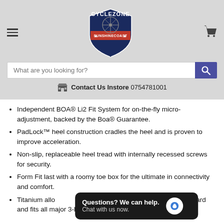Cyclezone Sunshine Coast — navigation header with logo, search bar, and contact info
Independent BOA® Li2 Fit System for on-the-fly micro-adjustment, backed by the Boa® Guarantee.
PadLock™ heel construction cradles the heel and is proven to improve acceleration.
Non-slip, replaceable heel tread with internally recessed screws for security.
Form Fit last with a roomy toe box for the ultimate in connectivity and comfort.
Titanium alloy … cleats 5mm rearward and fits all major 3-hole road pedals.